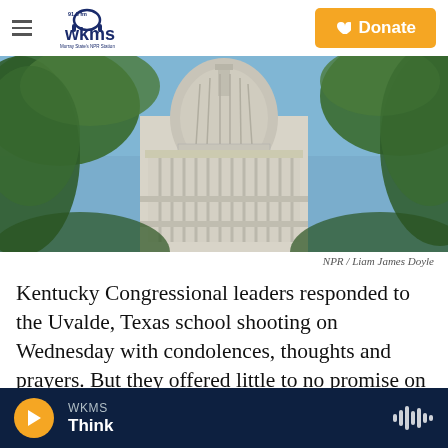WKMS 91.3 fm – Murray State's NPR Station | Donate
[Figure (photo): Photograph of the U.S. Capitol building dome viewed through green tree foliage against a blue sky, taken by Liam James Doyle for NPR.]
NPR / Liam James Doyle
Kentucky Congressional leaders responded to the Uvalde, Texas school shooting on Wednesday with condolences, thoughts and prayers. But they offered little to no promise on gun control legislation and reform.
WKMS Think